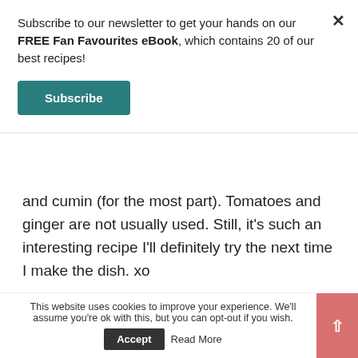Subscribe to our newsletter to get your hands on our FREE Fan Favourites eBook, which contains 20 of our best recipes!
Subscribe
and cumin (for the most part). Tomatoes and ginger are not usually used. Still, it's such an interesting recipe I'll definitely try the next time I make the dish. xo
TRACEY
REPLY
October 18, 2020 - 10:29 am
Do you have to boil the lentils
This website uses cookies to improve your experience. We'll assume you're ok with this, but you can opt-out if you wish.
Accept
Read More